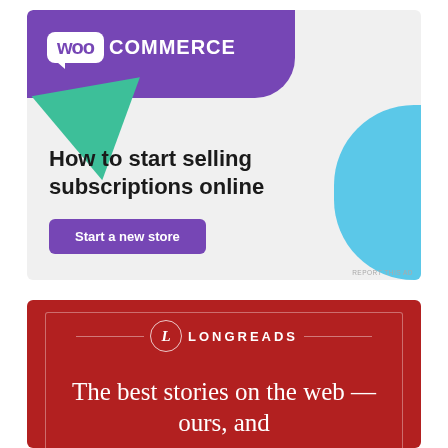[Figure (illustration): WooCommerce advertisement banner with purple header containing WooCommerce logo, teal triangle decoration, blue curved shape on right, headline 'How to start selling subscriptions online', and purple 'Start a new store' CTA button on light gray background.]
[Figure (illustration): Longreads advertisement banner on dark red background with Longreads logo (circle with 'L' and horizontal lines), and white serif text 'The best stories on the web — ours, and' with decorative border box.]